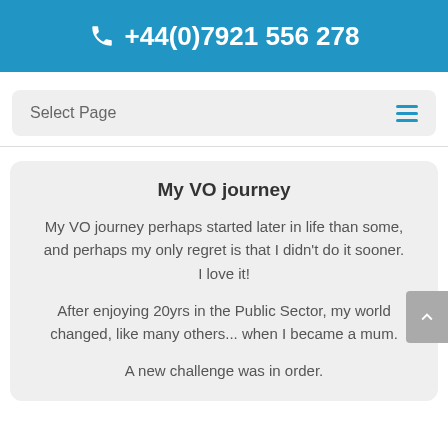+44(0)7921 556 278
Select Page
My VO journey
My VO journey perhaps started later in life than some, and perhaps my only regret is that I didn't do it sooner.
I love it!
After enjoying 20yrs in the Public Sector, my world changed, like many others... when I became a mum.
A new challenge was in order.